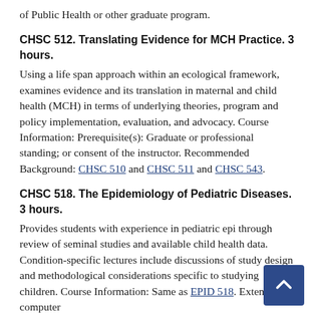of Public Health or other graduate program.
CHSC 512. Translating Evidence for MCH Practice. 3 hours.
Using a life span approach within an ecological framework, examines evidence and its translation in maternal and child health (MCH) in terms of underlying theories, program and policy implementation, evaluation, and advocacy. Course Information: Prerequisite(s): Graduate or professional standing; or consent of the instructor. Recommended Background: CHSC 510 and CHSC 511 and CHSC 543.
CHSC 518. The Epidemiology of Pediatric Diseases. 3 hours.
Provides students with experience in pediatric epi through review of seminal studies and available child health data. Condition-specific lectures include discussions of study design and methodological considerations specific to studying children. Course Information: Same as EPID 518. Extensive computer